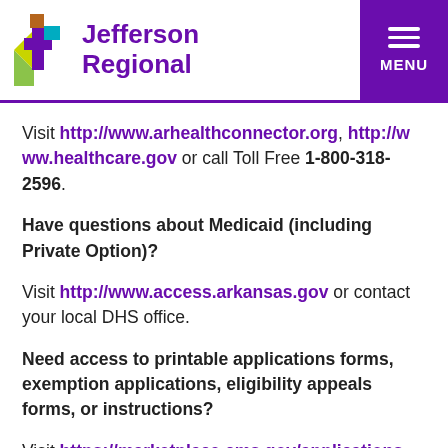Jefferson Regional
Visit http://www.arhealthconnector.org, http://www.healthcare.gov or call Toll Free 1-800-318-2596.
Have questions about Medicaid (including Private Option)?
Visit http://www.access.arkansas.gov or contact your local DHS office.
Need access to printable applications forms, exemption applications, eligibility appeals forms, or instructions?
Visit https://marketplace.cms.gov/applications-